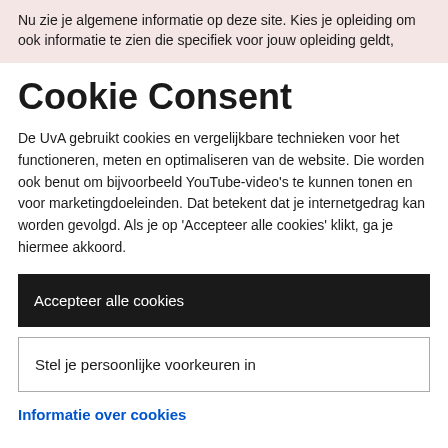Nu zie je algemene informatie op deze site. Kies je opleiding om ook informatie te zien die specifiek voor jouw opleiding geldt,
Cookie Consent
De UvA gebruikt cookies en vergelijkbare technieken voor het functioneren, meten en optimaliseren van de website. Die worden ook benut om bijvoorbeeld YouTube-video's te kunnen tonen en voor marketingdoeleinden. Dat betekent dat je internetgedrag kan worden gevolgd. Als je op ‘Accepteer alle cookies’ klikt, ga je hiermee akkoord.
Accepteer alle cookies
Stel je persoonlijke voorkeuren in
Informatie over cookies